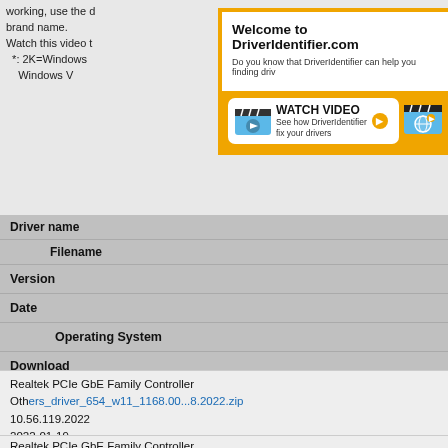working, use the driver's brand name. Watch this video t... *: 2K=Windows... Windows V...
[Figure (screenshot): DriverIdentifier.com popup overlay with orange border, showing 'Welcome to DriverIdentifier.com' heading, subtitle text, a 'WATCH VIDEO - See how DriverIdentifier fix your drivers' button with play icon, and a globe icon button, all on an orange banner background.]
| Driver name | Filename | Version | Date | Operating System | Download |
| --- | --- | --- | --- | --- | --- |
| Realtek PCIe GbE Family Controller | Others_driver_654_w11_1168.00...8.2022.zip | 10.56.119.2022 | 2022-01-19 | 4.84 WIN10, WIN11/64bits | MB Download |
| Realtek PCIe GbE Family Controller |  |  |  |  |  |
Realtek PCIe GbE Family Controller
Others_driver_654_w11_1168.00...8.2022.zip
10.56.119.2022
2022-01-19
4.84WIN10, WIN11/64bits
MB Download
Realtek PCIe GbE Family Controller